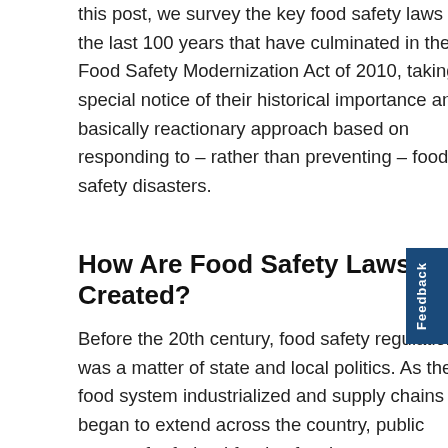this post, we survey the key food safety laws of the last 100 years that have culminated in the Food Safety Modernization Act of 2010, taking special notice of their historical importance and basically reactionary approach based on responding to – rather than preventing – food safety disasters.
How Are Food Safety Laws Created?
Before the 20th century, food safety regulation was a matter of state and local politics. As the food system industrialized and supply chains began to extend across the country, public support for federal food safety laws grew as muckrakers (such as Upton Sinclair) exposed hazards in the food industry. By the 1980s, as